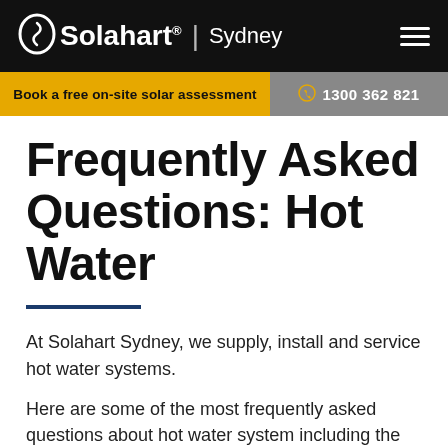Solahart Sydney
Book a free on-site solar assessment
1300 362 821
Frequently Asked Questions: Hot Water
At Solahart Sydney, we supply, install and service hot water systems.
Here are some of the most frequently asked questions about hot water system including the servicing of hot